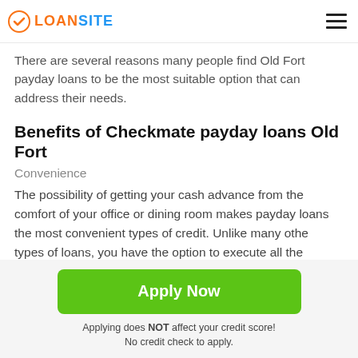LOANSITE
There are several reasons many people find Old Fort payday loans to be the most suitable option that can address their needs.
Benefits of Checkmate payday loans Old Fort
Convenience
The possibility of getting your cash advance from the comfort of your office or dining room makes payday loans the most convenient types of credit. Unlike many other types of loans, you have the option to execute all the processes and interactions online. This means payday
Apply Now
Applying does NOT affect your credit score!
No credit check to apply.